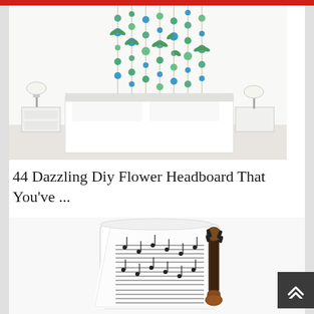[Figure (photo): A bright bedroom with a DIY hanging plant/flower headboard above a white bed, with bedside tables and lamps on each side. Green and blue flowers hang from strings attached to the ceiling.]
44 Dazzling Diy Flower Headboard That You've ...
[Figure (photo): A white ceramic mug with printed sheet music notes on it, featuring a violin-shaped handle in brown and black colors.]